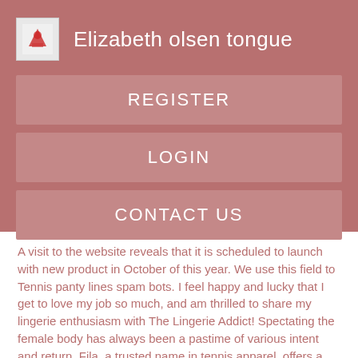Elizabeth olsen tongue
REGISTER
LOGIN
CONTACT US
A visit to the website reveals that it is scheduled to launch with new product in October of this year. We use this field to Tennis panty lines spam bots. I feel happy and lucky that I get to love my job so much, and am thrilled to share my lingerie enthusiasm with The Lingerie Addict! Spectating the female body has always been a pastime of various intent and return. Fila, a trusted name in tennis apparel, offers a huge array of mostly predictable clothing, with the exception of this statement-making red undershort, a la Tatiana Golovin.